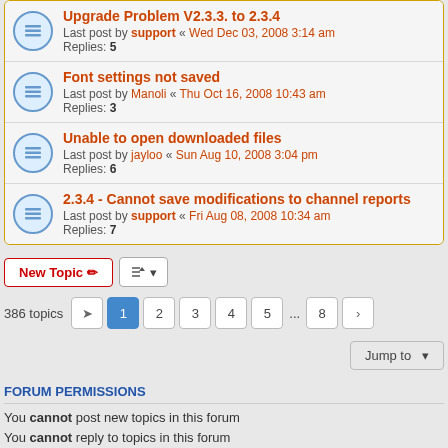Upgrade Problem V2.3.3. to 2.3.4 — Last post by support « Wed Dec 03, 2008 3:14 am — Replies: 5
Font settings not saved — Last post by Manoli « Thu Oct 16, 2008 10:43 am — Replies: 3
Unable to open downloaded files — Last post by jayloo « Sun Aug 10, 2008 3:04 pm — Replies: 6
2.3.4 - Cannot save modifications to channel reports — Last post by support « Fri Aug 08, 2008 10:34 am — Replies: 7
386 topics  1 2 3 4 5 ... 8 >
Jump to
FORUM PERMISSIONS
You cannot post new topics in this forum
You cannot reply to topics in this forum
You cannot edit your posts in this forum
You cannot delete your posts in this forum